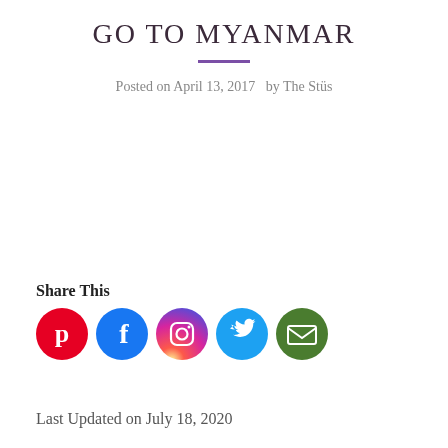GO TO MYANMAR
Posted on April 13, 2017  by The Stüs
Share This
[Figure (infographic): Row of five social media icon circles: Pinterest (red), Facebook (blue), Instagram (gradient purple/orange), Twitter (light blue), Email (green)]
Last Updated on July 18, 2020